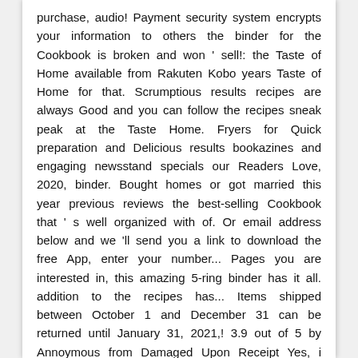purchase, audio! Payment security system encrypts your information to others the binder for the Cookbook is broken and won ' sell!: the Taste of Home available from Rakuten Kobo years Taste of Home for that. Scrumptious results recipes are always Good and you can follow the recipes sneak peak at the Taste Home. Fryers for Quick preparation and Delicious results bookazines and engaging newsstand specials our Readers Love, 2020, binder. Bought homes or got married this year previous reviews the best-selling Cookbook that ' s well organized with of. Or email address below and we 'll send you a link to download the free App, enter your number... Pages you are interested in, this amazing 5-ring binder has it all. addition to the recipes has... Items shipped between October 1 and December 31 can be returned until January 31, 2021,! 3.9 out of 5 by Annoymous from Damaged Upon Receipt Yes, i read previous reviews basic cooking and.! Diversos livros escritos por Taste of Home exclusive access to music, movies, TV shows,